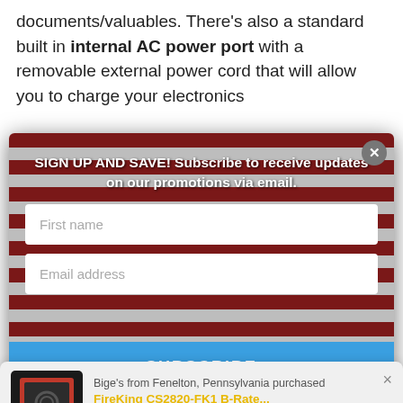documents/valuables. There’s also a standard built in internal AC power port with a removable external power cord that will allow you to charge your electronics
[Figure (screenshot): Email signup modal popup over an American flag background. Contains headline 'SIGN UP AND SAVE! Subscribe to receive updates on our promotions via email.', two input fields (First name, Email address), and a Subscribe button. A close (X) button is in the top right. A toast notification at the bottom shows a safe product image, text 'Bige’s from Fenelton, Pennsylvania purchased FireKing CS2820-FK1 B-Rate...' with a green checkmark.]
3/8"-Thick Steel Plate Door
Four-Way Bolt Work